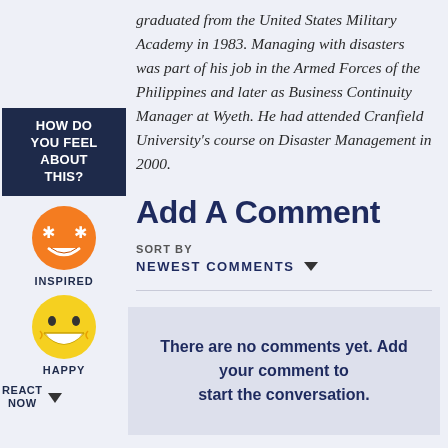graduated from the United States Military Academy in 1983. Managing with disasters was part of his job in the Armed Forces of the Philippines and later as Business Continuity Manager at Wyeth. He had attended Cranfield University's course on Disaster Management in 2000.
[Figure (illustration): HOW DO YOU FEEL ABOUT THIS? sidebar with two emoji reactions: an inspired emoji (orange face with stars for eyes and open grin) labeled INSPIRED, and a happy emoji (yellow face with big smile) labeled HAPPY, plus a REACT NOW button with dropdown arrow]
Add A Comment
SORT BY
NEWEST COMMENTS
There are no comments yet. Add your comment to start the conversation.